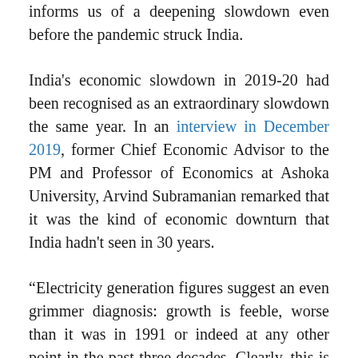informs us of a deepening slowdown even before the pandemic struck India.
India's economic slowdown in 2019-20 had been recognised as an extraordinary slowdown the same year. In an interview in December 2019, former Chief Economic Advisor to the PM and Professor of Economics at Ashoka University, Arvind Subramanian remarked that it was the kind of economic downturn that India hadn't seen in 30 years.
“Electricity generation figures suggest an even grimmer diagnosis: growth is feeble, worse than it was in 1991 or indeed at any other point in the past three decades. Clearly, this is not an ordinary slowdown. It is India’s Great Slowdown, where the economy seems headed for the intensive care unit.